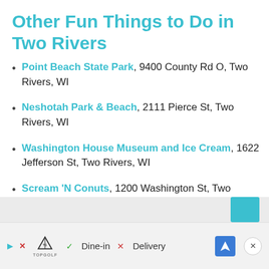Other Fun Things to Do in Two Rivers
Point Beach State Park, 9400 County Rd O, Two Rivers, WI
Neshotah Park & Beach, 2111 Pierce St, Two Rivers, WI
Washington House Museum and Ice Cream, 1622 Jefferson St, Two Rivers, WI
Scream 'N Conuts, 1200 Washington St, Two Rivers, WI